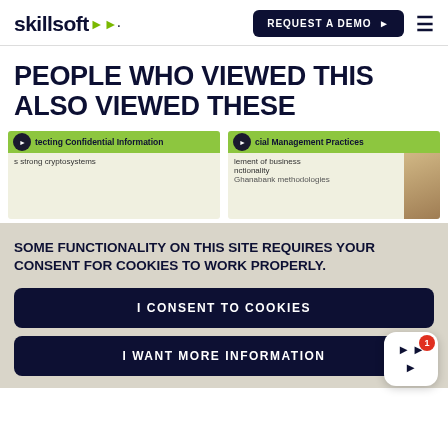[Figure (logo): Skillsoft logo with arrow icon]
[Figure (screenshot): REQUEST A DEMO button and hamburger menu]
PEOPLE WHO VIEWED THIS ALSO VIEWED THESE
[Figure (screenshot): Two course preview cards: 'Protecting Confidential Information - uses strong cryptosystems' and 'Financial Management Practices - element of business functionality']
SOME FUNCTIONALITY ON THIS SITE REQUIRES YOUR CONSENT FOR COOKIES TO WORK PROPERLY.
[Figure (screenshot): I CONSENT TO COOKIES button]
[Figure (screenshot): I WANT MORE INFORMATION button with notification widget showing badge count 1]